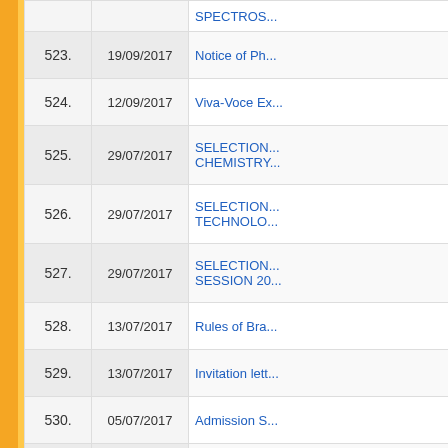| No. | Date | Title |
| --- | --- | --- |
|  |  | SPECTROS... |
| 523. | 19/09/2017 | Notice of Ph... |
| 524. | 12/09/2017 | Viva-Voce Ex... |
| 525. | 29/07/2017 | SELECTION... CHEMISTRY... |
| 526. | 29/07/2017 | SELECTION... TECHNOLO... |
| 527. | 29/07/2017 | SELECTION... SESSION 20... |
| 528. | 13/07/2017 | Rules of Bra... |
| 529. | 13/07/2017 | Invitation lett... |
| 530. | 05/07/2017 | Admission S... |
| 531. | 31/05/2017 | Datesheet (F... |
| 532. | 06/05/2017 | Link of Date... |
| 533. | 25/04/2017 | Date sheet o... |
| 534. | 25/04/2017 | Revised Noti... |
| 535. | 21/04/2017 | Chemical Ist... |
| 536. | 21/04/2017 | Notice of De... |
| 537. | 24/03/2017 | B.E. (Chemi... |